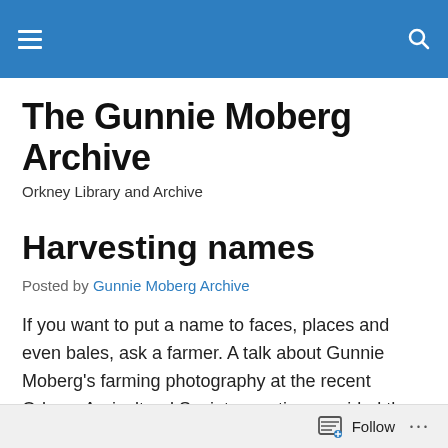The Gunnie Moberg Archive — navigation bar
The Gunnie Moberg Archive
Orkney Library and Archive
Harvesting names
Posted by Gunnie Moberg Archive
If you want to put a name to faces, places and even bales, ask a farmer. A talk about Gunnie Moberg's farming photography at the recent Orkney Agricultural Society meeting provided the archive with a rich harvest. All of the photographs in this post have been named by the farmers
Follow ...